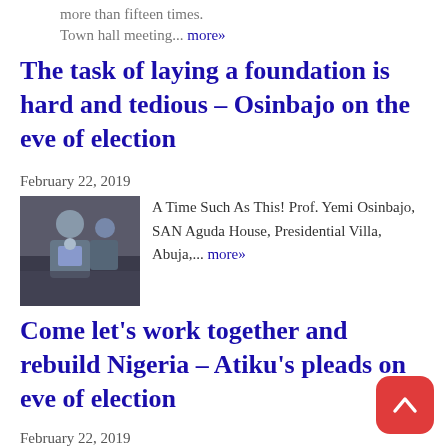more than fifteen times. Town hall meeting... more»
The task of laying a foundation is hard and tedious – Osinbajo on the eve of election
February 22, 2019
[Figure (photo): Photo of Prof. Yemi Osinbajo at Aguda House]
A Time Such As This! Prof. Yemi Osinbajo, SAN Aguda House, Presidential Villa, Abuja,... more»
Come let's work together and rebuild Nigeria – Atiku's pleads on eve of election
February 22, 2019